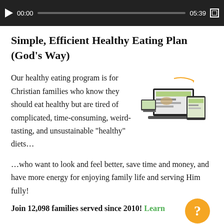[Figure (screenshot): Video player bar with play button, timestamp 00:00, progress bar, duration 05:39, and fullscreen button on dark background]
Simple, Efficient Healthy Eating Plan (God’s Way)
Our healthy eating program is for Christian families who know they should eat healthy but are tired of complicated, time-consuming, weird-tasting, and unsustainable “healthy” diets…
[Figure (illustration): Promotional image showing website displayed on multiple devices: laptop, desktop monitor, and tablet]
…who want to look and feel better, save time and money, and have more energy for enjoying family life and serving Him fully!
Join 12,098 families served since 2010! Learn